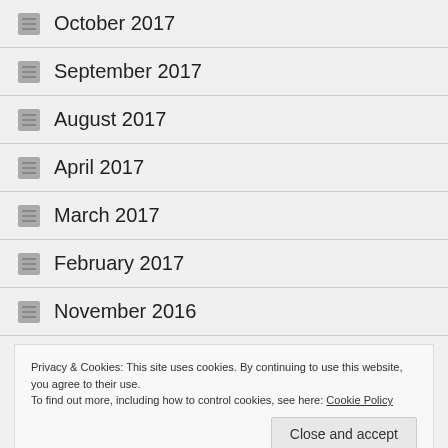October 2017
September 2017
August 2017
April 2017
March 2017
February 2017
November 2016
Privacy & Cookies: This site uses cookies. By continuing to use this website, you agree to their use. To find out more, including how to control cookies, see here: Cookie Policy
April 2016